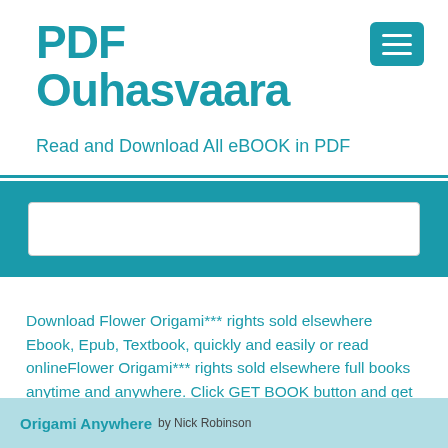PDF Ouhasvaara
Read and Download All eBOOK in PDF
[Figure (other): Search input box on teal background]
Download Flower Origami*** rights sold elsewhere Ebook, Epub, Textbook, quickly and easily or read onlineFlower Origami*** rights sold elsewhere full books anytime and anywhere. Click GET BOOK button and get unlimited access by create free account.
Origami Anywhere by Nick Robinson